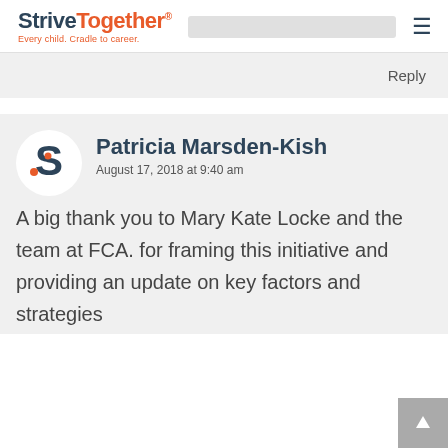StriveTogether® Every child. Cradle to career.
Reply
[Figure (logo): StriveTogether circular S logo avatar icon in dark teal with red dot]
Patricia Marsden-Kish
August 17, 2018 at 9:40 am
A big thank you to Mary Kate Locke and the team at FCA. for framing this initiative and providing an update on key factors and strategies